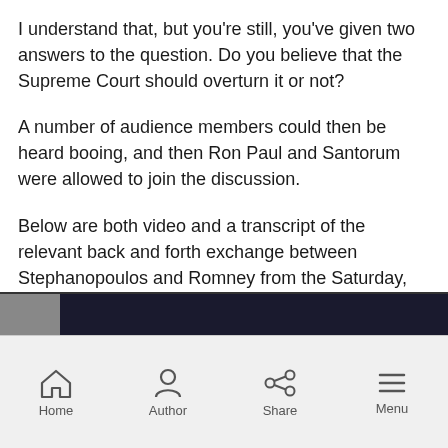I understand that, but you're still, you've given two answers to the question. Do you believe that the Supreme Court should overturn it or not?
A number of audience members could then be heard booing, and then Ron Paul and Santorum were allowed to join the discussion.
Below are both video and a transcript of the relevant back and forth exchange between Stephanopoulos and Romney from the Saturday, January 7 Republican presidential debate on ABC:
[Figure (screenshot): Partial view of a dark video player thumbnail at the bottom of the content area]
Home  Author  Share  Menu